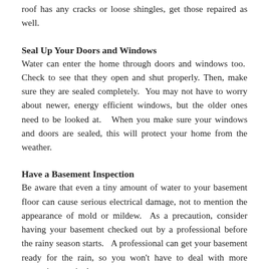roof has any cracks or loose shingles, get those repaired as well.
Seal Up Your Doors and Windows
Water can enter the home through doors and windows too. Check to see that they open and shut properly. Then, make sure they are sealed completely. You may not have to worry about newer, energy efficient windows, but the older ones need to be looked at. When you make sure your windows and doors are sealed, this will protect your home from the weather.
Have a Basement Inspection
Be aware that even a tiny amount of water to your basement floor can cause serious electrical damage, not to mention the appearance of mold or mildew. As a precaution, consider having your basement checked out by a professional before the rainy season starts. A professional can get your basement ready for the rain, so you won't have to deal with more expensive repairs later on.